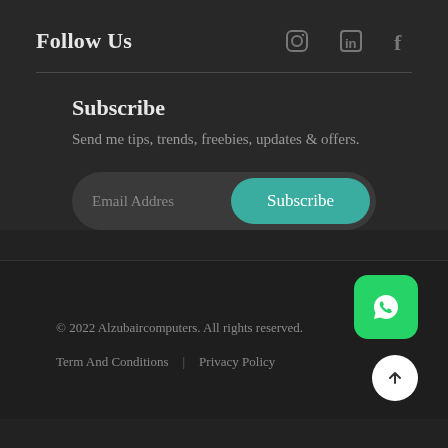Follow Us
[Figure (other): Social media icons: Instagram, LinkedIn, Facebook]
Subscribe
Send me tips, trends, freebies, updates & offers.
[Figure (other): Email subscription form with Email Addres placeholder input and Subscribe button]
© 2022 Alzubaircomputers. All rights reserved.
Term And Conditions | Privacy Policy
[Figure (other): WhatsApp icon button (green)]
[Figure (other): Scroll to top arrow button (white circle with up arrow)]